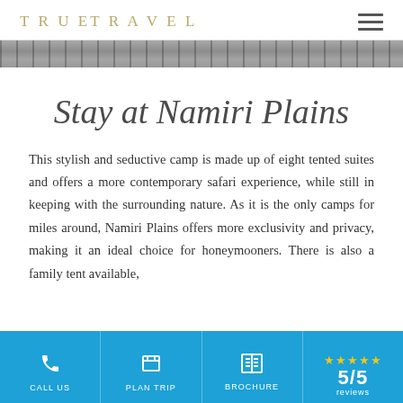TRUE TRAVEL
[Figure (photo): Decorative banner strip showing wooden/deck texture in grey tones]
Stay at Namiri Plains
This stylish and seductive camp is made up of eight tented suites and offers a more contemporary safari experience, while still in keeping with the surrounding nature. As it is the only camps for miles around, Namiri Plains offers more exclusivity and privacy, making it an ideal choice for honeymooners. There is also a family tent available,
CALL US | PLAN TRIP | BROCHURE | 5/5 reviews